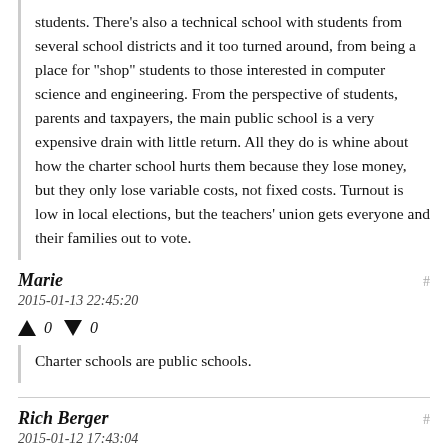students. There's also a technical school with students from several school districts and it too turned around, from being a place for "shop" students to those interested in computer science and engineering. From the perspective of students, parents and taxpayers, the main public school is a very expensive drain with little return. All they do is whine about how the charter school hurts them because they lose money, but they only lose variable costs, not fixed costs. Turnout is low in local elections, but the teachers' union gets everyone and their families out to vote.
Marie
2015-01-13 22:45:20
Charter schools are public schools.
Rich Berger
2015-01-12 17:43:04